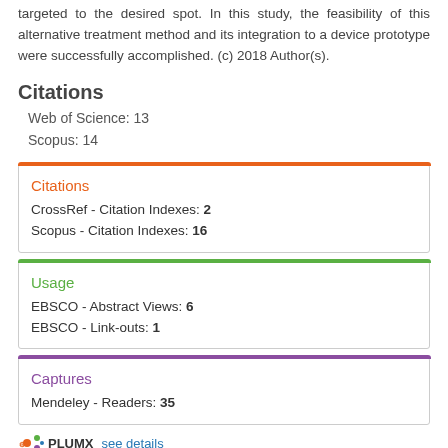targeted to the desired spot. In this study, the feasibility of this alternative treatment method and its integration to a device prototype were successfully accomplished. (c) 2018 Author(s).
Citations
Web of Science: 13
Scopus: 14
Citations
CrossRef - Citation Indexes: 2
Scopus - Citation Indexes: 16
Usage
EBSCO - Abstract Views: 6
EBSCO - Link-outs: 1
Captures
Mendeley - Readers: 35
PLUMX see details